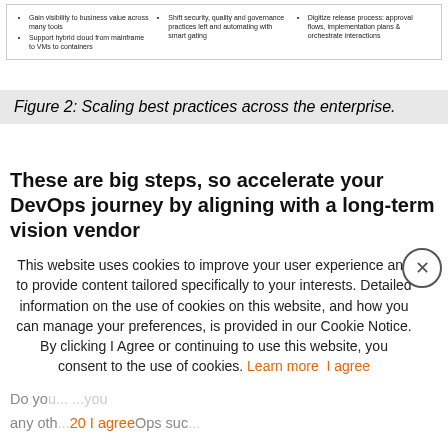|  |  |  |
| --- | --- | --- |
| • Gain visibility to business value across many tools
• Support hybrid cloud from mainframe to VMs to containers | • Shift security, quality and governance practices left and automating with smart gating | • Digitize release process: approval flows, implementation plans & orchestrate interactions |
Figure 2: Scaling best practices across the enterprise.
These are big steps, so accelerate your DevOps journey by aligning with a long-term vision vendor
This website uses cookies to improve your user experience and to provide content tailored specifically to your interests. Detailed information on the use of cookies on this website, and how you can manage your preferences, is provided in our Cookie Notice. By clicking I Agree or continuing to use this website, you consent to the use of cookies. Learn more I agree
Do you... any oth... DevOps suc...